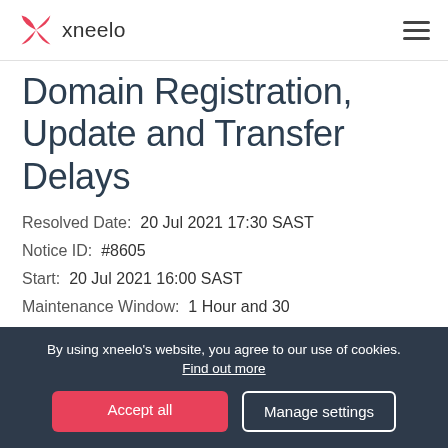xneelo
Domain Registration, Update and Transfer Delays
Resolved Date:  20 Jul 2021 17:30 SAST
Notice ID:  #8605
Start:  20 Jul 2021 16:00 SAST
Maintenance Window:  1 Hour and 30
By using xneelo's website, you agree to our use of cookies. Find out more
Accept all
Manage settings